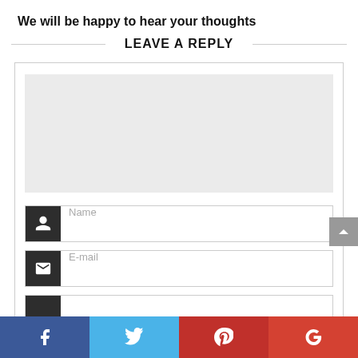We will be happy to hear your thoughts
LEAVE A REPLY
[Figure (screenshot): Web comment form with a large gray textarea, a Name input field with dark icon, an E-mail input field with dark envelope icon, and a partially visible third input row.]
[Figure (infographic): Social sharing bar at bottom with four buttons: Facebook (blue), Twitter (light blue), Pinterest (dark red), Google+ (red-orange), each with white icons.]